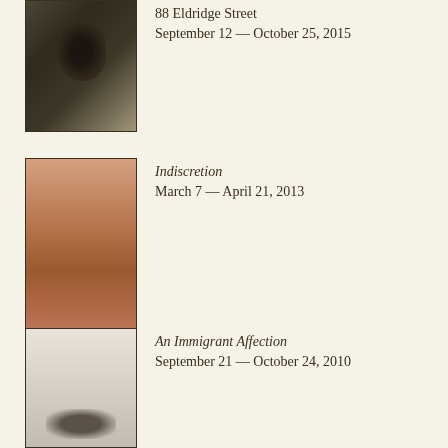[Figure (photo): Partial view of a dark monochrome close-up photograph, partially cropped at top]
88 Eldridge Street
September 12 — October 25, 2015
[Figure (photo): Color photograph with warm reddish-brown tones, showing abstract or figurative image]
Indiscretion
March 7 — April 21, 2013
[Figure (photo): Foggy misty outdoor photograph with small figures of people at the bottom]
An Immigrant Affection
September 21 — October 24, 2010